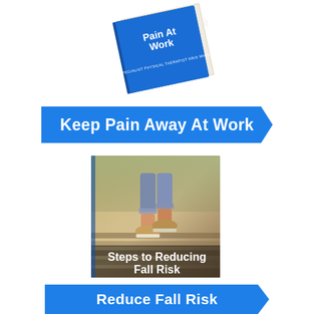[Figure (illustration): Tilted book cover showing 'Pain At Work' title and text 'By Specialist Physical Therapist Kris Winders' with blue spine and pages visible]
Keep Pain Away At Work
[Figure (illustration): Book cover showing person walking on wooden steps/boards from behind, wearing jeans and sneakers, with title 'Steps to Reducing Fall Risk' in white bold text at the bottom]
Reduce Fall Risk